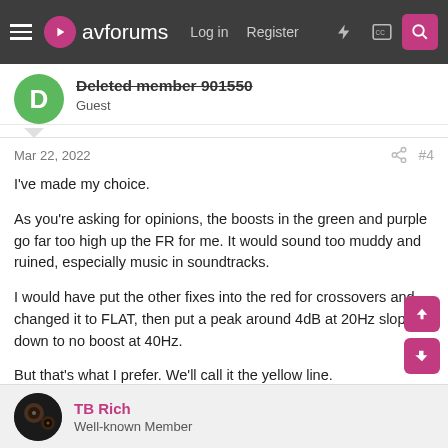avforums — Log in | Register
Deleted member 901550
Guest
Mar 22, 2022   #4
I've made my choice.
As you're asking for opinions, the boosts in the green and purple go far too high up the FR for me. It would sound too muddy and ruined, especially music in soundtracks.
I would have put the other fixes into the red for crossovers and changed it to FLAT, then put a peak around 4dB at 20Hz sloping down to no boost at 40Hz.
But that's what I prefer. We'll call it the yellow line.
TB Rich
Well-known Member